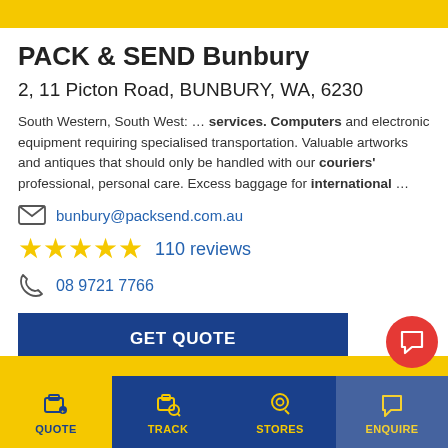[Figure (other): Yellow decorative top bar with partial logo/arrow visible]
PACK & SEND Bunbury
2, 11 Picton Road, BUNBURY, WA, 6230
South Western, South West: … services. Computers and electronic equipment requiring specialised transportation. Valuable artworks and antiques that should only be handled with our couriers' professional, personal care. Excess baggage for international …
bunbury@packsend.com.au
110 reviews
08 9721 7766
GET QUOTE
QUOTE   TRACK   STORES   ENQUIRE